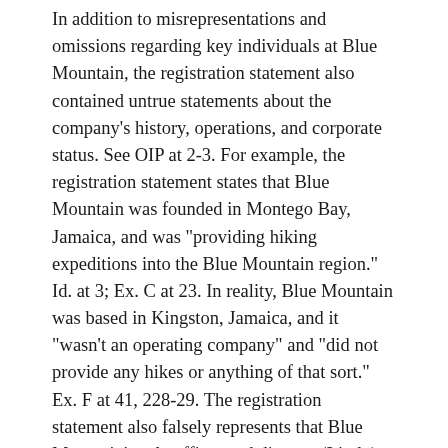In addition to misrepresentations and omissions regarding key individuals at Blue Mountain, the registration statement also contained untrue statements about the company's history, operations, and corporate status. See OIP at 2-3. For example, the registration statement states that Blue Mountain was founded in Montego Bay, Jamaica, and was "providing hiking expeditions into the Blue Mountain region." Id. at 3; Ex. C at 23. In reality, Blue Mountain was based in Kingston, Jamaica, and it "wasn't an operating company" and "did not provide any hikes or anything of that sort." Ex. F at 41, 228-29. The registration statement also falsely represents that Blue Mountain's sole officer and director (Lindo) had "earned the Sustainable Travel International Certification." OIP at 2-3; Ex. C at 22. Lindo had never heard of such a certification and had not earned it. Ex. F at 227. And though the registration